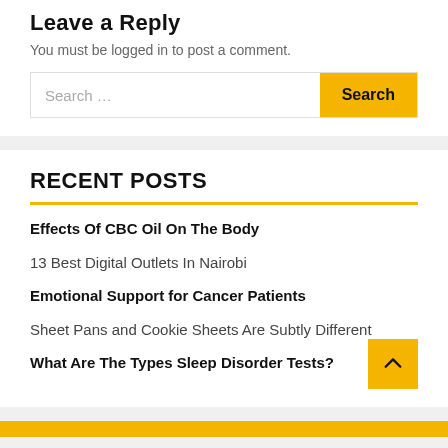Leave a Reply
You must be logged in to post a comment.
RECENT POSTS
Effects Of CBC Oil On The Body
13 Best Digital Outlets In Nairobi
Emotional Support for Cancer Patients
Sheet Pans and Cookie Sheets Are Subtly Different
What Are The Types Sleep Disorder Tests?